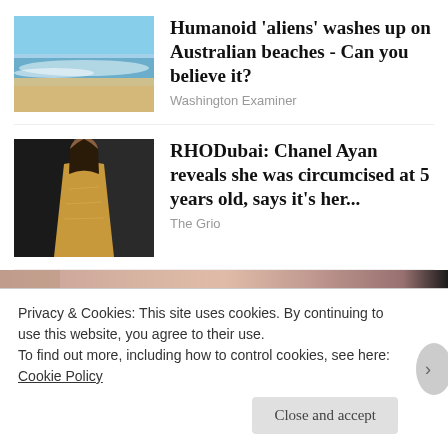[Figure (photo): Photo thumbnail of a beach with blue sky, waves, and sandy shore]
Humanoid 'aliens' washes up on Australian beaches - Can you believe it?
Washington Examiner
[Figure (photo): Photo thumbnail of a woman in a gold dress against a dark background]
RHODubai: Chanel Ayan reveals she was circumcised at 5 years old, says it's her...
The Grio
[Figure (photo): Partial thumbnail strip with pinkish/rose tones at bottom of feed]
Privacy & Cookies: This site uses cookies. By continuing to use this website, you agree to their use.
To find out more, including how to control cookies, see here: Cookie Policy
Close and accept